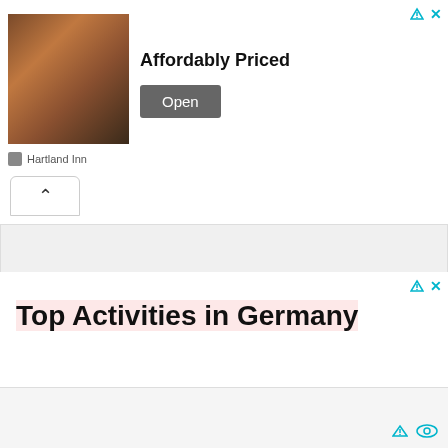[Figure (screenshot): Advertisement banner with photo of people at a bar/restaurant, text 'Affordably Priced', Open button, and Hartland Inn source label]
[Figure (screenshot): Advertisement for GetYourGuide: 'Top Activities in Germany' headline highlighted in pink, body text about mobile ticketing, Open button with red border]